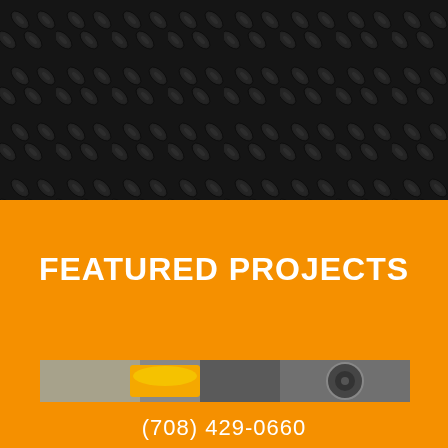[Figure (photo): Dark diamond plate / checker plate metal texture background filling the top half of the image]
FEATURED PROJECTS
[Figure (photo): Narrow horizontal strip showing construction/mechanical equipment — yellow hard hat, steel parts]
(708) 429-0660